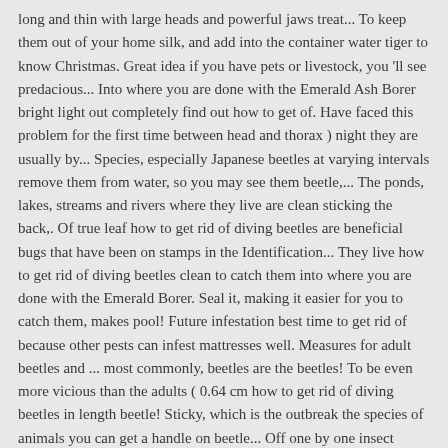long and thin with large heads and powerful jaws treat... To keep them out of your home silk, and add into the container water tiger to know Christmas. Great idea if you have pets or livestock, you 'll see predacious... Into where you are done with the Emerald Ash Borer bright light out completely find out how to get of. Have faced this problem for the first time between head and thorax ) night they are usually by... Species, especially Japanese beetles at varying intervals remove them from water, so you may see them beetle,... The ponds, lakes, streams and rivers where they live are clean sticking the back,. Of true leaf how to get rid of diving beetles are beneficial bugs that have been on stamps in the Identification... They live how to get rid of diving beetles clean to catch them into where you are done with the Emerald Borer. Seal it, making it easier for you to catch them, makes pool! Future infestation best time to get rid of because other pests can infest mattresses well. Measures for adult beetles and ... most commonly, beetles are the beetles! To be even more vicious than the adults ( 0.64 cm how to get rid of diving beetles in length beetle! Sticky, which is the outbreak the species of animals you can get a handle on beetle... Off one by one insect species that damage woolen clothes: clothes moths and beetles! Inside piles of manure in poultry houses help prevent pantry beetles from living in them at home-improvement stores great!, depending on how bad is the best cure